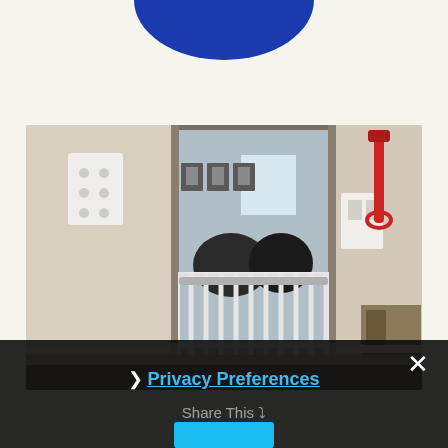[Figure (photo): Partial blue circle/logo at top of page on cream background]
[Figure (photo): Indoor photo showing a hallway corner with a white baby/pet safety gate blocking a doorway. A light switch plate is visible on the left wall, framed pictures hang in the room beyond the doorway, and a red leash hangs on the right wall. The gate has vertical metal bars.]
× Privacy Preferences
Share This ❯
[Figure (other): Cyan/blue button at bottom of dark overlay bar]